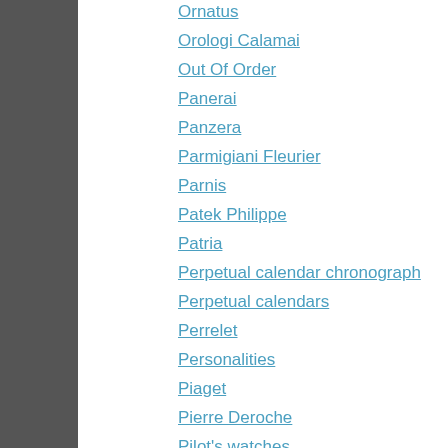Ornatus
Orologi Calamai
Out Of Order
Panerai
Panzera
Parmigiani Fleurier
Parnis
Patek Philippe
Patria
Perpetual calendar chronograph
Perpetual calendars
Perrelet
Personalities
Piaget
Pierre Deroche
Pilot's watches
Pinion